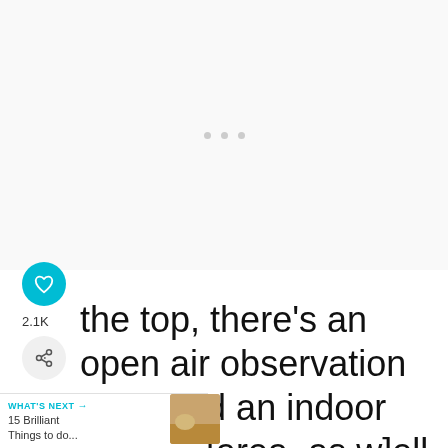[Figure (photo): Mostly white/light gray image area with loading indicator dots in the center]
the top, there's an open air observation deck and an indoor seating [area, as w]ell as a small and in-demand restaurant that serves snacks,
2.1K
WHAT'S NEXT → 15 Brilliant Things to do...